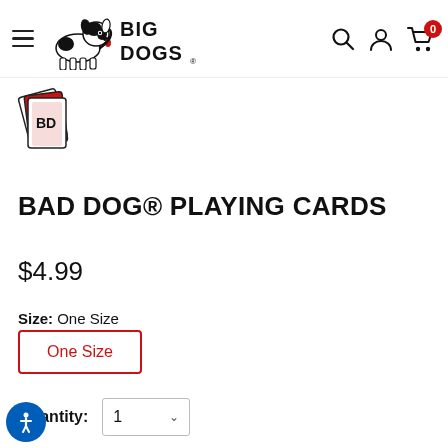Big Dogs - navigation header with hamburger menu, logo, search, account, and cart icons
[Figure (photo): Small product thumbnail showing Bad Dog Playing Cards package]
BAD DOG® PLAYING CARDS
$4.99
Size:  One Size
One Size
Quantity: 1